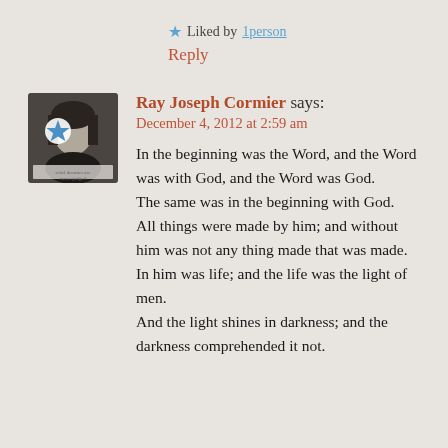★ Liked by 1person
Reply
[Figure (photo): Black and white avatar photo of Ray Joseph Cormier with a star graphic overlay]
Ray Joseph Cormier says:
December 4, 2012 at 2:59 am
In the beginning was the Word, and the Word was with God, and the Word was God.
The same was in the beginning with God.
All things were made by him; and without him was not any thing made that was made.
In him was life; and the life was the light of men.
And the light shines in darkness; and the darkness comprehended it not.